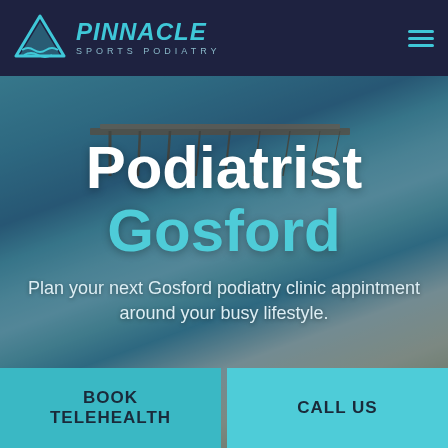[Figure (screenshot): Pinnacle Sports Podiatry website header with teal logo (triangle mountain icon and PINNACLE SPORTS PODIATRY text) on dark navy background, with hamburger menu icon on the right.]
[Figure (photo): Aerial coastal beach photo showing ocean with blue water, waves, a long wooden pier/jetty extending into the water, sandy beach, and coastal vegetation.]
Podiatrist
Gosford
Plan your next Gosford podiatry clinic appintment around your busy lifestyle.
BOOK TELEHEALTH
CALL US